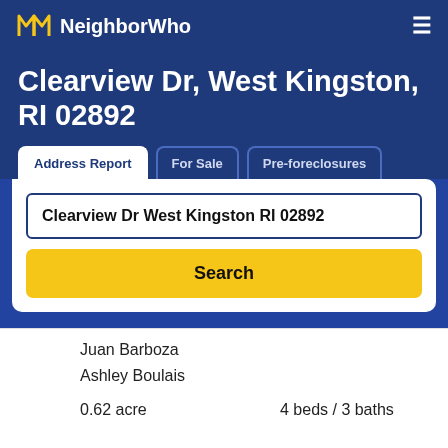NeighborWho
Clearview Dr, West Kingston, RI 02892
Address Report | For Sale | Pre-foreclosures
Clearview Dr West Kingston RI 02892
Search
Juan Barboza
Ashley Boulais
0.62 acre
4 beds / 3 baths